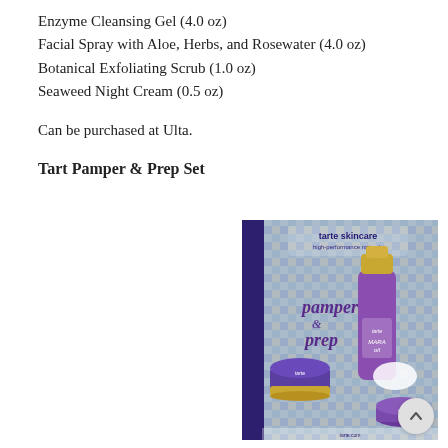Enzyme Cleansing Gel (4.0 oz)
Facial Spray with Aloe, Herbs, and Rosewater (4.0 oz)
Botanical Exfoliating Scrub (1.0 oz)
Seaweed Night Cream (0.5 oz)
Can be purchased at Ulta.
Tart Pamper & Prep Set
[Figure (photo): Product photo of the Tarte Skincare Pamper & Prep Set, showing a colorful mosaic-patterned box labeled 'tarte skincare high-performance naturals' with 'pamper & prep' script text, alongside several skincare products including a tall purple bottle of Maracuja Oil with a gold cap, a small purple jar, and a small purple compact.]